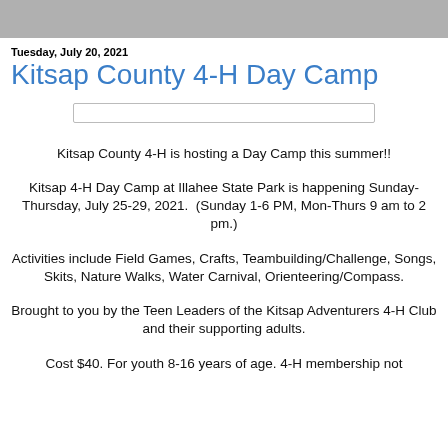Tuesday, July 20, 2021
Kitsap County 4-H Day Camp
Kitsap County 4-H is hosting a Day Camp this summer!!
Kitsap 4-H Day Camp at Illahee State Park is happening Sunday-Thursday, July 25-29, 2021. (Sunday 1-6 PM, Mon-Thurs 9 am to 2 pm.)
Activities include Field Games, Crafts, Teambuilding/Challenge, Songs, Skits, Nature Walks, Water Carnival, Orienteering/Compass.
Brought to you by the Teen Leaders of the Kitsap Adventurers 4-H Club and their supporting adults.
Cost $40. For youth 8-16 years of age. 4-H membership not